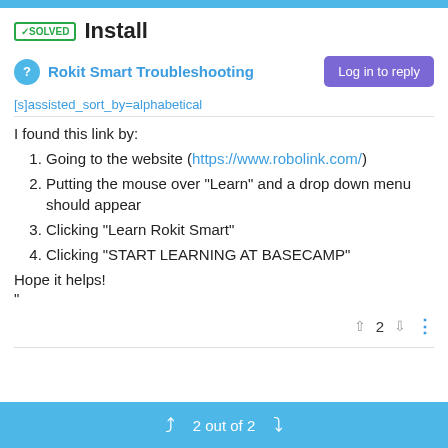✓SOLVED  Install
Rokit Smart Troubleshooting
[s]assisted_sort_by=alphabetical
I found this link by:
Going to the website (https://www.robolink.com/)
Putting the mouse over "Learn" and a drop down menu should appear
Clicking "Learn Rokit Smart"
Clicking "START LEARNING AT BASECAMP"
Hope it helps!
"
2 out of 2